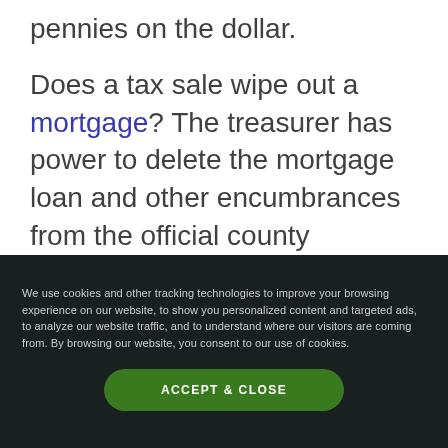pennies on the dollar.
Does a tax sale wipe out a mortgage? The treasurer has power to delete the mortgage loan and other encumbrances from the official county records.
They will do so after giving multiple due process default notices delivered by
We use cookies and other tracking technologies to improve your browsing experience on our website, to show you personalized content and targeted ads, to analyze our website traffic, and to understand where our visitors are coming from. By browsing our website, you consent to our use of cookies.
ACCEPT & CLOSE